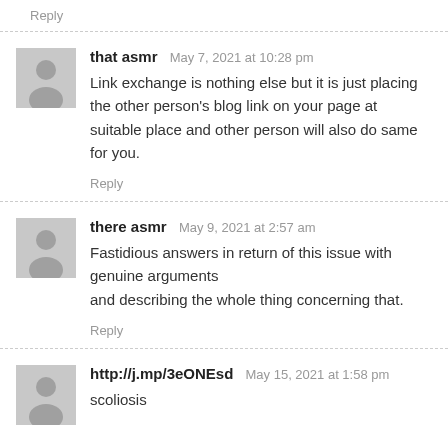Reply
that asmr  May 7, 2021 at 10:28 pm
Link exchange is nothing else but it is just placing the other person's blog link on your page at suitable place and other person will also do same for you.
Reply
there asmr  May 9, 2021 at 2:57 am
Fastidious answers in return of this issue with genuine arguments
and describing the whole thing concerning that.
Reply
http://j.mp/3eONEsd  May 15, 2021 at 1:58 pm
scoliosis